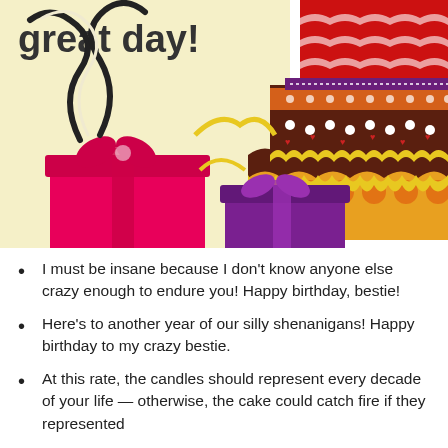[Figure (illustration): Birthday card illustration showing a layered birthday cake decorated with wavy brown, orange, and yellow frosting with dots, alongside colorful gift boxes (pink and purple) wrapped with ribbons, on a cream/light yellow background. Text 'great day!' visible in upper left.]
I must be insane because I don't know anyone else crazy enough to endure you! Happy birthday, bestie!
Here's to another year of our silly shenanigans! Happy birthday to my crazy bestie.
At this rate, the candles should represent every decade of your life — otherwise, the cake could catch fire if they represented